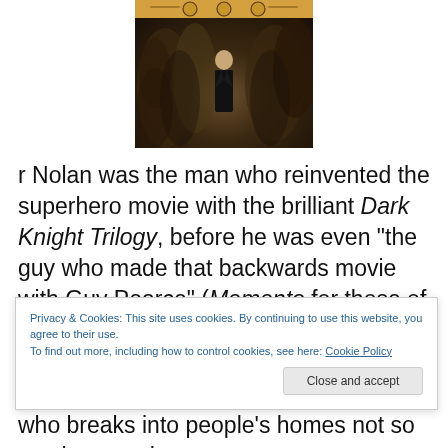[Figure (photo): Movie poster for a film, showing a man in a suit standing still in the middle of a blurred crowd. The top of the poster has a golden/yellow banner with award laurel circles.]
r Nolan was the man who reinvented the superhero movie with the brilliant Dark Knight Trilogy, before he was even "the guy who made that backwards movie with Guy Pearce" (Memento for those of you playing along at home). he made an interesting little noir-thriller called
Privacy & Cookies: This site uses cookies. By continuing to use this website, you agree to their use.
To find out more, including how to control cookies, see here: Cookie Policy
Close and accept
who breaks into people's homes not so much to steal